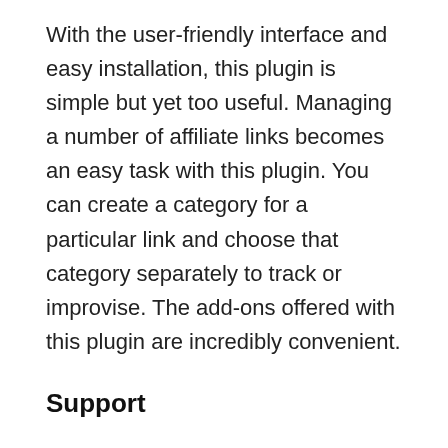With the user-friendly interface and easy installation, this plugin is simple but yet too useful. Managing a number of affiliate links becomes an easy task with this plugin. You can create a category for a particular link and choose that category separately to track or improvise. The add-ons offered with this plugin are incredibly convenient.
Support
I would again consider the support and quick responses as my priority. The support available for the free pack is through the WordPress support forum. You can check and